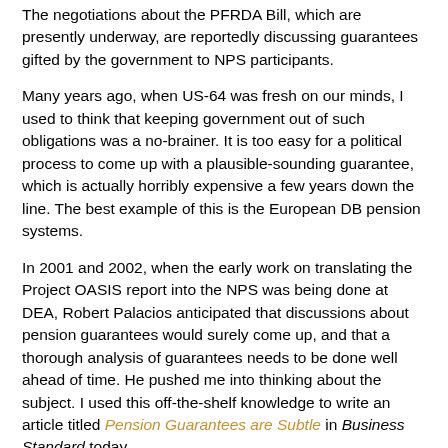The negotiations about the PFRDA Bill, which are presently underway, are reportedly discussing guarantees gifted by the government to NPS participants.
Many years ago, when US-64 was fresh on our minds, I used to think that keeping government out of such obligations was a no-brainer. It is too easy for a political process to come up with a plausible-sounding guarantee, which is actually horribly expensive a few years down the line. The best example of this is the European DB pension systems.
In 2001 and 2002, when the early work on translating the Project OASIS report into the NPS was being done at DEA, Robert Palacios anticipated that discussions about pension guarantees would surely come up, and that a thorough analysis of guarantees needs to be done well ahead of time. He pushed me into thinking about the subject. I used this off-the-shelf knowledge to write an article titled Pension Guarantees are Subtle in Business Standard today.
The EPW article I talk about is: Investment risk in the Indian pension sector and the role for pension guarantees, EPW,